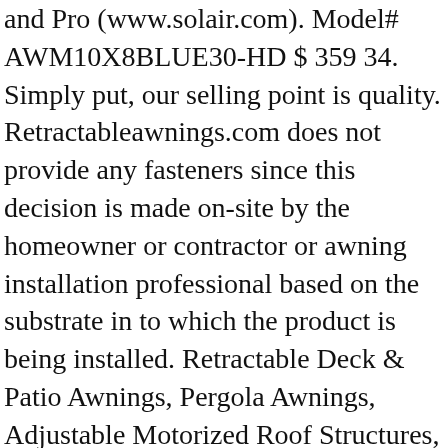and Pro (www.solair.com). Model# AWM10X8BLUE30-HD $ 359 34. Simply put, our selling point is quality. Retractableawnings.com does not provide any fasteners since this decision is made on-site by the homeowner or contractor or awning installation professional based on the substrate in to which the product is being installed. Retractable Deck & Patio Awnings, Pergola Awnings, Adjustable Motorized Roof Structures, Solar Screens, Canopies & Window Awnings! Mostof our customers install our products themselves if they are skillful with their hands. We are experts in custom outdoor retractable solutions, and have been for the last 17+ years. We've been providing stylish protection from damaging UV and harsh Australian elements for years. Please call the SunSetter Awnings helpline @1-800-257-6614. Retractable patio / deck pergola covers can